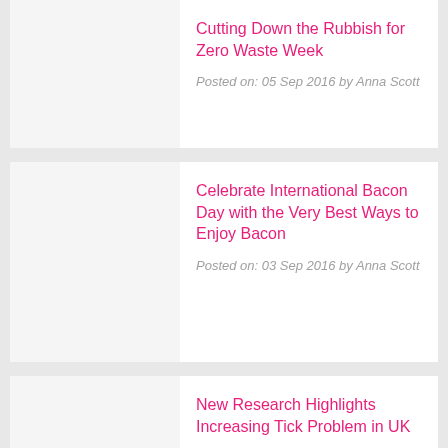Cutting Down the Rubbish for Zero Waste Week
Posted on: 05 Sep 2016 by Anna Scott
Celebrate International Bacon Day with the Very Best Ways to Enjoy Bacon
Posted on: 03 Sep 2016 by Anna Scott
New Research Highlights Increasing Tick Problem in UK